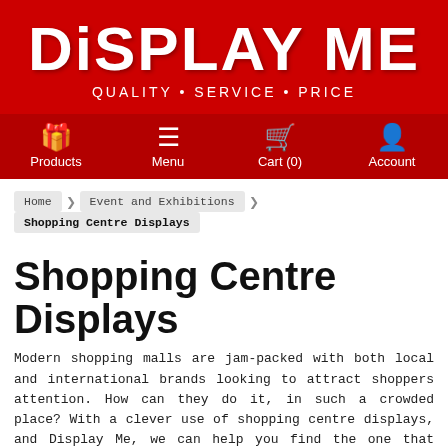[Figure (logo): Display Me logo with red background, white stylized text reading DISPLAY ME, with tagline QUALITY • SERVICE • PRICE]
Products | Menu | Cart (0) | Account
Home > Event and Exhibitions > Shopping Centre Displays
Shopping Centre Displays
Modern shopping malls are jam-packed with both local and international brands looking to attract shoppers attention. How can they do it, in such a crowded place? With a clever use of shopping centre displays, and Display Me, we can help you find the one that will best promote your store!